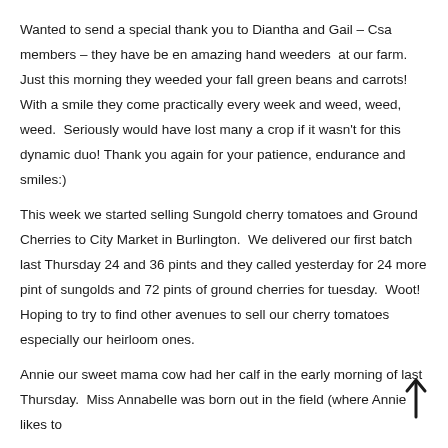Wanted to send a special thank you to Diantha and Gail – Csa members – they have be en amazing hand weeders  at our farm.  Just this morning they weeded your fall green beans and carrots! With a smile they come practically every week and weed, weed, weed.  Seriously would have lost many a crop if it wasn't for this dynamic duo! Thank you again for your patience, endurance and smiles:)
This week we started selling Sungold cherry tomatoes and Ground Cherries to City Market in Burlington.  We delivered our first batch last Thursday 24 and 36 pints and they called yesterday for 24 more pint of sungolds and 72 pints of ground cherries for tuesday.  Woot!  Hoping to try to find other avenues to sell our cherry tomatoes especially our heirloom ones.
Annie our sweet mama cow had her calf in the early morning of last Thursday.  Miss Annabelle was born out in the field (where Annie likes to